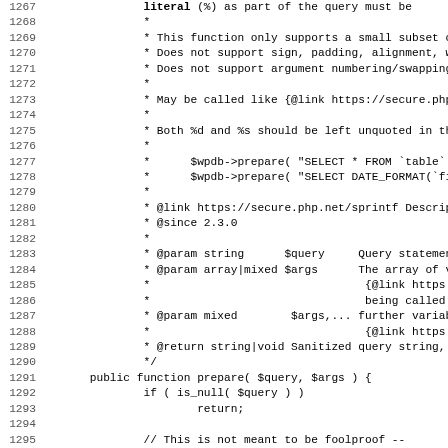Source code listing lines 1267-1299, showing PHP docblock comment and public function prepare($query, $args) implementation for wpdb class.